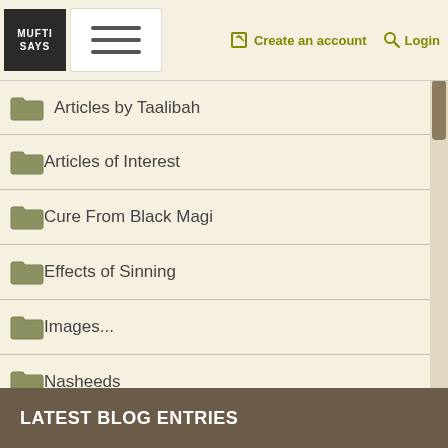MUFTI SAYS | Create an account | Login
Articles by Taalibah
Articles of Interest
Cure From Black Magi
Effects of Sinning
Images...
Nasheeds
Pearls Of Wisdom fro
poetry by Taalibah
Positive And Negativ
Tassawuf & Spiritual
Upbringing Of Childr
Video/Audio clips
What is Autism?
LATEST BLOG ENTRIES